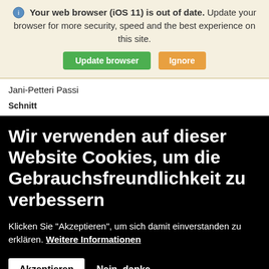Your web browser (iOS 11) is out of date. Update your browser for more security, speed and the best experience on this site.
Update browser   Ignore
Jani-Petteri Passi
Schnitt
Wir verwenden auf dieser Website Cookies, um die Gebrauchsfreundlichkeit zu verbessern
Klicken Sie "Akzeptieren", um sich damit einverstanden zu erklären. Weitere Informationen
Akzeptieren   Nein, danke